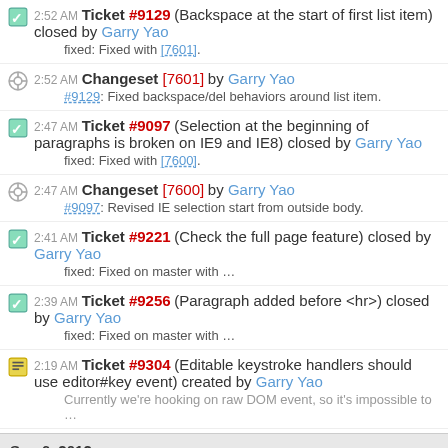2:52 AM Ticket #9129 (Backspace at the start of first list item) closed by Garry Yao
fixed: Fixed with [7601].
2:52 AM Changeset [7601] by Garry Yao
#9129: Fixed backspace/del behaviors around list item.
2:47 AM Ticket #9097 (Selection at the beginning of paragraphs is broken on IE9 and IE8) closed by Garry Yao
fixed: Fixed with [7600].
2:47 AM Changeset [7600] by Garry Yao
#9097: Revised IE selection start from outside body.
2:41 AM Ticket #9221 (Check the full page feature) closed by Garry Yao
fixed: Fixed on master with …
2:39 AM Ticket #9256 (Paragraph added before <hr>) closed by Garry Yao
fixed: Fixed on master with …
2:19 AM Ticket #9304 (Editable keystroke handlers should use editor#key event) created by Garry Yao
Currently we're hooking on raw DOM event, so it's impossible to …
Sep 6, 2012: